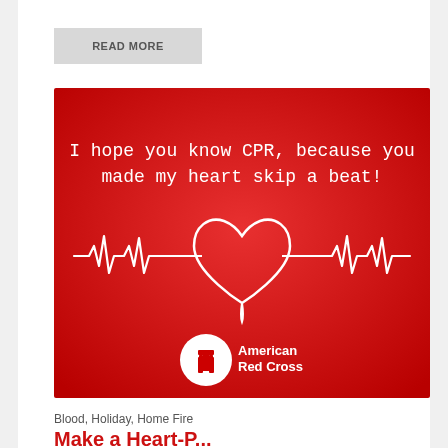READ MORE
[Figure (illustration): American Red Cross promotional image on a red gradient background. Text reads 'I hope you know CPR, because you made my heart skip a beat!' with a heartbeat line graphic forming a heart shape in the center. American Red Cross logo (white circle with red cross) and 'American Red Cross' text at the bottom.]
Blood, Holiday, Home Fire
Make a Heart-P...